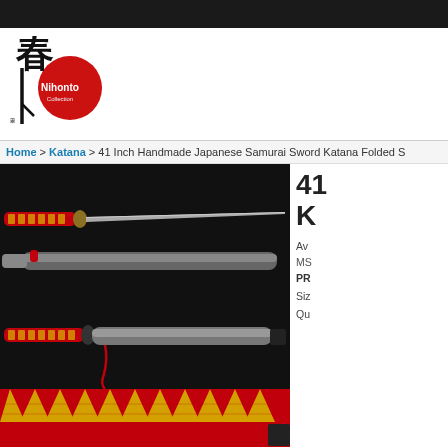[Figure (logo): Nihonto logo with red circle sun and Japanese calligraphy, text 'Nihonto' in stylized font]
Home > Katana > 41 Inch Handmade Japanese Samurai Sword Katana Folded S
[Figure (photo): Product photo of a Japanese katana sword shown in three views: drawn blade, sheathed in saya, and partially sheathed. Sword has red and yellow wrapped handle (tsuka-ito). Background is dark/black with red fabric visible at bottom.]
41 Inch Handmade Japanese Samurai Sword Katana Folded S K
Availability:
MS SKU:
PRICE:
Size:
Qu